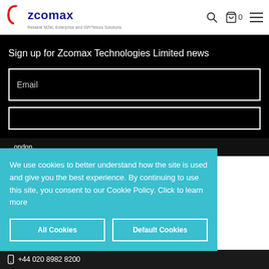[Figure (logo): Zcomax logo with red circular C graphic and blue brand name text, subtitle: Reliable M2M, Enterprise and ISP/Telcos Solutions]
Sign up for Zcomax Technologies Limited news
Email
We use cookies to better understand how the site is used and give you the best experience. By continuing to use this site, you consent to our Cookie Policy. Click to learn more
All Cookies
Default Cookies
...ondon,
+44 020 8982 8200